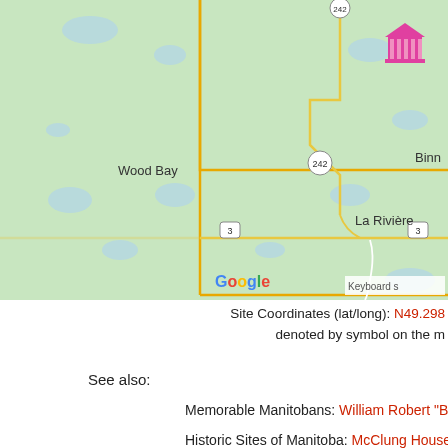[Figure (map): Google Map showing the area around La Rivière, Manitoba, Canada. Shows Wood Bay to the west, highway routes 3 and 242, the town of La Rivière, and Binn(e) partially visible on the right. A pink museum/building icon marks a historic site. Yellow boundary lines and road lines visible. Google logo in bottom left, 'Keyboard s' text partially visible bottom right.]
Site Coordinates (lat/long): N49.298... denoted by symbol on the m...
See also:
Memorable Manitobans: William Robert "Bill" Wallcra...
Historic Sites of Manitoba: McClung House (97 Ches...
Historic Sites of Manitoba: Archbold Methodist Ch...